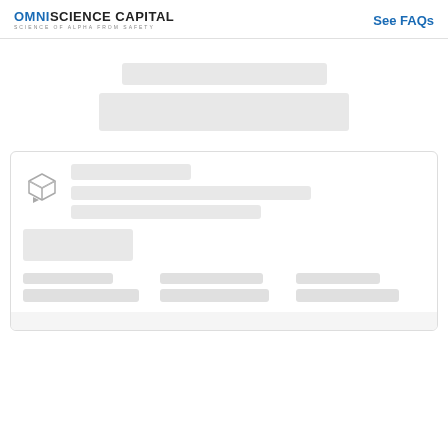OMNISCIENCE CAPITAL — Science of Alpha from Safety | See FAQs
[Figure (other): Loading placeholder bars representing content being loaded]
[Figure (other): Card with 3D box icon and placeholder content bars and footer columns]